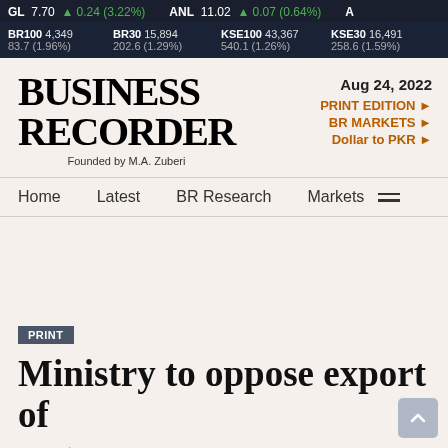GL 7.70 ▲ 0.24 (3.22%)   ANL 11.02 ▲ 0.07 (0.64%)   A
BR100 4,349 / 83.7 (1.96%)   BR30 15,894 / 202.6 (1.29%)   KSE100 43,367 / 540.1 (1.26%)   KSE30 16,491 / 258.6 (1.59%)
[Figure (logo): Business Recorder logo with 'Founded by M.A. Zuberi']
Aug 24, 2022
PRINT EDITION ►
BR MARKETS ►
Dollar to PKR ►
Home   Latest   BR Research   Markets
PRINT
Ministry to oppose export of sugar